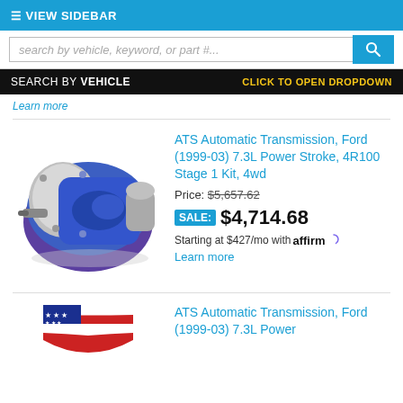≡ VIEW SIDEBAR
search by vehicle, keyword, or part #...
SEARCH BY VEHICLE    CLICK TO OPEN DROPDOWN
Learn more
ATS Automatic Transmission, Ford (1999-03) 7.3L Power Stroke, 4R100 Stage 1 Kit, 4wd
Price: $5,657.62
SALE: $4,714.68
Starting at $427/mo with affirm. Learn more
ATS Automatic Transmission, Ford (1999-03) 7.3L Power